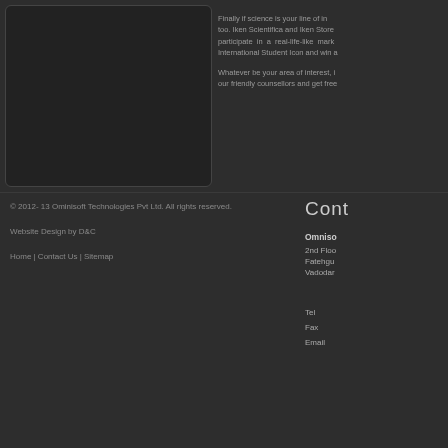[Figure (other): Dark panel on the left side, appears to be an image placeholder with dark background and rounded border]
Finally if science is your line of interest, we have something for you too. Iken Scientifica and Iken Stores will let you participate in a real-life-like market. Become an International Student Icon and win a...
Whatever be your area of interest, feel free to talk to our friendly counsellors and get free...
© 2012- 13 Ominisoft Technologies Pvt Ltd. All rights reserved.
Website Design by D&C
Home | Contact Us | Sitemap
Cont
Ominisoft
2nd Floo
Fatehgu
Vadodar
Tel
Fax
Email